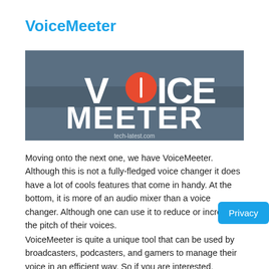VoiceMeeter
[Figure (logo): VoiceMeeter logo on dark blue-grey background with orange circle replacing the 'o', white bold text reading VOICE MEETER, and watermark text tech-latest.com]
Moving onto the next one, we have VoiceMeeter. Although this is not a fully-fledged voice changer it does have a lot of cools features that come in handy. At the bottom, it is more of an audio mixer than a voice changer. Although one can use it to reduce or increase the pitch of their voices.
VoiceMeeter is quite a unique tool that can be used by broadcasters, podcasters, and gamers to manage their voice in an efficient way. So if you are interested, definitely give it a